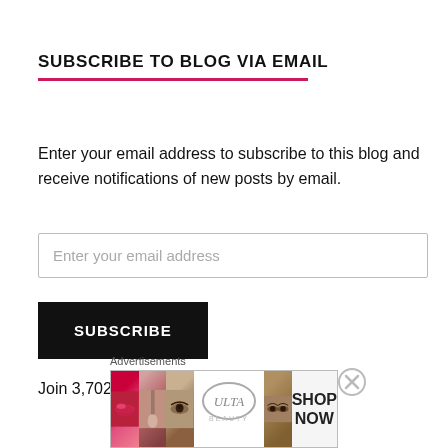SUBSCRIBE TO BLOG VIA EMAIL
Enter your email address to subscribe to this blog and receive notifications of new posts by email.
Enter your email address
SUBSCRIBE
Join 3,702 other followers
Advertisements
[Figure (photo): Ulta Beauty advertisement banner showing makeup images including lips, brush, eye, Ulta logo, eyes, and SHOP NOW text]